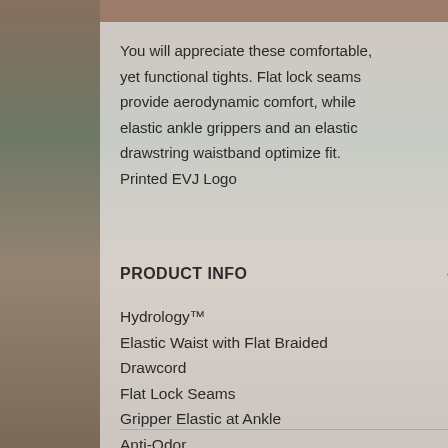[Figure (photo): Sports arena background photo showing volleyball players and spectators in bleachers, with a semi-transparent white overlay panel in the center-left area.]
You will appreciate these comfortable, yet functional tights. Flat lock seams provide aerodynamic comfort, while elastic ankle grippers and an elastic drawstring waistband optimize fit. Printed EVJ Logo
PRODUCT INFO
Hydrology™
Elastic Waist with Flat Braided Drawcord
Flat Lock Seams
Gripper Elastic at Ankle
Anti-Odor